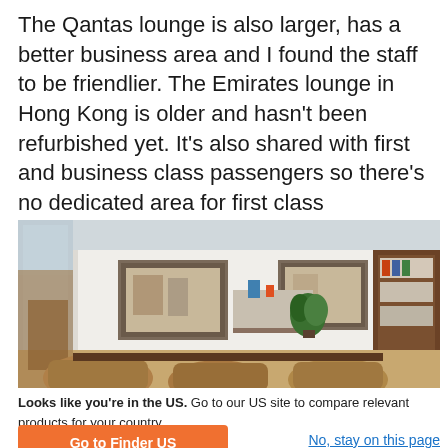The Qantas lounge is also larger, has a better business area and I found the staff to be friendlier. The Emirates lounge in Hong Kong is older and hasn't been refurbished yet. It's also shared with first and business class passengers so there's no dedicated area for first class passengers.
[Figure (photo): Interior of an airport lounge showing white partition walls with two framed pictures, a dark wood bookshelf unit on the right with magazines and items, a counter/desk area in the middle, potted plant, and tan leather chairs in the foreground.]
Looks like you're in the US. Go to our US site to compare relevant products for your country.
Go to Finder US
No, stay on this page